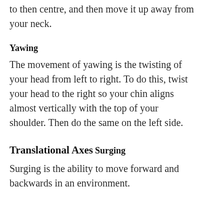to then centre, and then move it up away from your neck.
Yawing
The movement of yawing is the twisting of your head from left to right. To do this, twist your head to the right so your chin aligns almost vertically with the top of your shoulder. Then do the same on the left side.
Translational Axes
Surging
Surging is the ability to move forward and backwards in an environment.